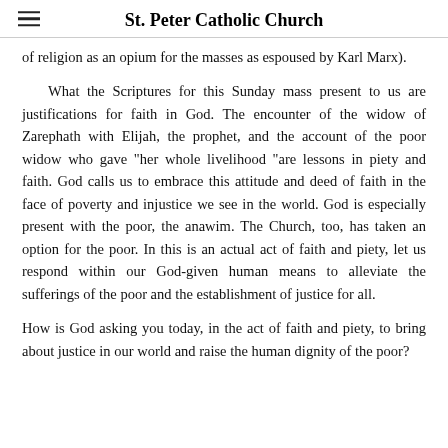St. Peter Catholic Church
of religion as an opium for the masses as espoused by Karl Marx).
What the Scriptures for this Sunday mass present to us are justifications for faith in God. The encounter of the widow of Zarephath with Elijah, the prophet, and the account of the poor widow who gave "her whole livelihood "are lessons in piety and faith. God calls us to embrace this attitude and deed of faith in the face of poverty and injustice we see in the world. God is especially present with the poor, the anawim. The Church, too, has taken an option for the poor. In this is an actual act of faith and piety, let us respond within our God-given human means to alleviate the sufferings of the poor and the establishment of justice for all.
How is God asking you today, in the act of faith and piety, to bring about justice in our world and raise the human dignity of the poor?